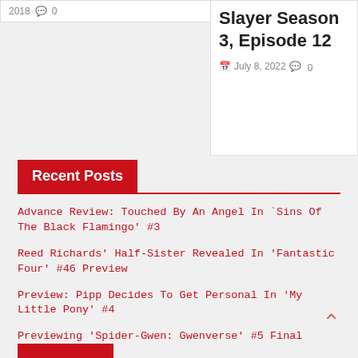2018  0
Slayer Season 3, Episode 12
July 8, 2022  0
Recent Posts
Advance Review: Touched By An Angel In `Sins Of The Black Flamingo' #3
Reed Richards' Half-Sister Revealed In 'Fantastic Four' #46 Preview
Preview: Pipp Decides To Get Personal In 'My Little Pony' #4
Previewing 'Spider-Gwen: Gwenverse' #5 Final Issue
Will The Planeswalkers Unite To Save The Multiverse?: Previewing 'Magic' Vol 2